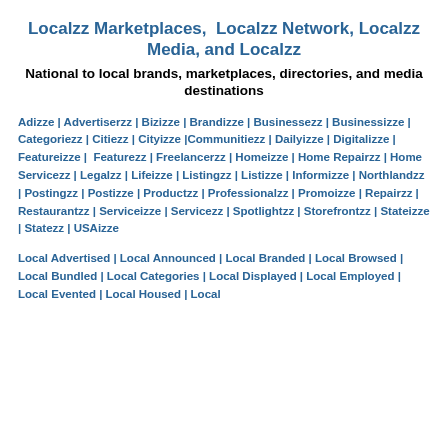Localzz Marketplaces,  Localzz Network, Localzz Media, and Localzz
National to local brands, marketplaces, directories, and media destinations
Adizze | Advertiserzz | Bizizze | Brandizze | Businessezz | Businessizze | Categoriezz | Citiezz | Cityizze |Communitiezz | Dailyizze | Digitalizze | Featureizze |  Featurezz | Freelancerzz | Homeizze | Home Repairzz | Home Servicezz | Legalzz | Lifeizze | Listingzz | Listizze | Informizze | Northlandzz | Postingzz | Postizze | Productzz | Professionalzz | Promoizze | Repairzz | Restaurantzz | Serviceizze | Servicezz | Spotlightzz | Storefrontzz | Stateizze | Statezz | USAizze
Local Advertised | Local Announced | Local Branded | Local Browsed | Local Bundled | Local Categories | Local Displayed | Local Employed | Local Evented | Local Housed | Local